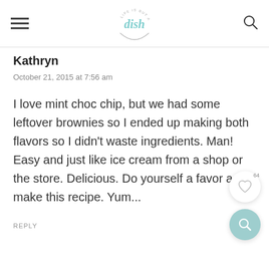Life is But a Dish
Kathryn
October 21, 2015 at 7:56 am
I love mint choc chip, but we had some leftover brownies so I ended up making both flavors so I didn't waste ingredients. Man! Easy and just like ice cream from a shop or the store. Delicious. Do yourself a favor and make this recipe. Yum...
REPLY